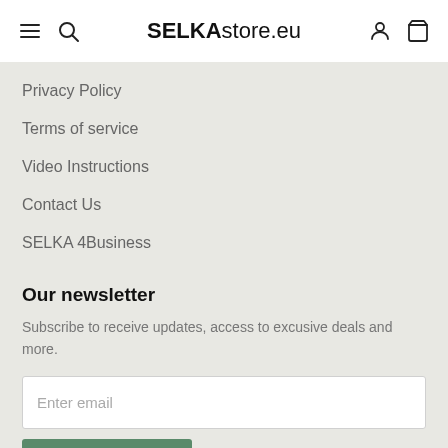SELKAstore.eu
Privacy Policy
Terms of service
Video Instructions
Contact Us
SELKA 4Business
Our newsletter
Subscribe to receive updates, access to excusive deals and more.
Enter email